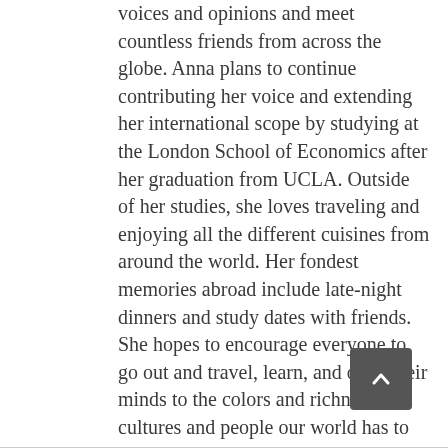voices and opinions and meet countless friends from across the globe. Anna plans to continue contributing her voice and extending her international scope by studying at the London School of Economics after her graduation from UCLA. Outside of her studies, she loves traveling and enjoying all the different cuisines from around the world. Her fondest memories abroad include late-night dinners and study dates with friends. She hopes to encourage everyone to go out and travel, learn, and open their minds to the colors and richness of cultures and people our world has to offer. Learn more about Anna's study abroad experiences on her blog, The Little Book of Travels.